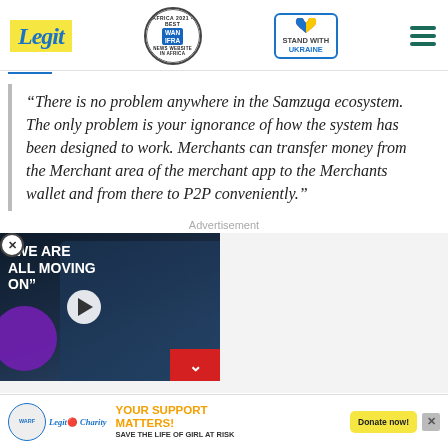Legit | WAN IFRA 2021 Best News Website in Africa | Stand With Ukraine
“There is no problem anywhere in the Samzuga ecosystem. The only problem is your ignorance of how the system has been designed to work. Merchants can transfer money from the Merchant area of the merchant app to the Merchants wallet and from there to P2P conveniently.”
Advertisement
[Figure (photo): Video ad thumbnail showing two people with text overlay 'WE ARE ALL MOVING ON' and a play button]
[Figure (infographic): Bottom charity banner: WARF logo, Legit Charity, YOUR SUPPORT MATTERS! SAVE THE LIFE OF GIRL AT RISK, Donate now! button, X close button]